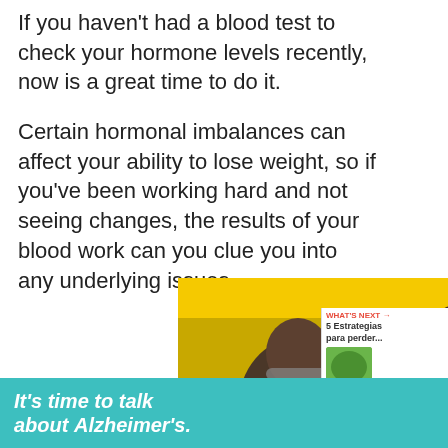If you haven't had a blood test to check your hormone levels recently, now is a great time to do it.
Certain hormonal imbalances can affect your ability to lose weight, so if you've been working hard and not seeing changes, the results of your blood work can you clue you into any underlying issues.
[Figure (photo): Advertisement image showing people laughing at an event with yellow background, and a smaller overlay thumbnail. Close button visible. 'What's Next' panel with '5 Estrategias para perder...' text.]
[Figure (infographic): Bottom banner advertisement: teal background with italic white bold text 'It's time to talk about Alzheimer's.' with a LEARN MORE button and Alzheimer's Association logo.]